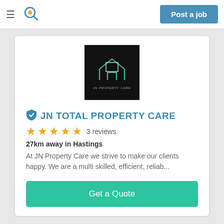Post a job
[Figure (logo): JN Property Care logo — black square background with outline house/building icon and text 'JN PROPERTY CARE' in white]
JN TOTAL PROPERTY CARE
★★★★★ 3 reviews
27km away in Hastings
At JN Property Care we strive to make our clients happy. We are a multi skilled, efficient, reliab...
Get a Quote